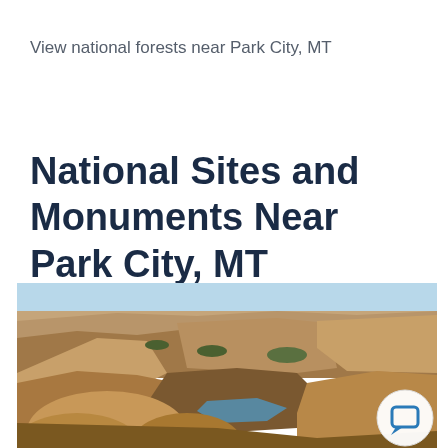View national forests near Park City, MT
National Sites and Monuments Near Park City, MT
[Figure (photo): Aerial view of a dramatic canyon landscape with steep rocky cliffs, layered sandstone formations, and a river visible at the bottom of the canyon. The sky is clear and light blue. A chat button icon overlays the bottom right of the image.]